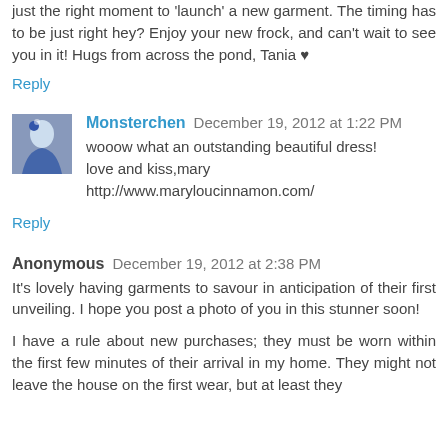just the right moment to 'launch' a new garment. The timing has to be just right hey? Enjoy your new frock, and can't wait to see you in it! Hugs from across the pond, Tania ♥
Reply
Monsterchen December 19, 2012 at 1:22 PM
wooow what an outstanding beautiful dress!
love and kiss,mary
http://www.maryloucinnamon.com/
Reply
Anonymous December 19, 2012 at 2:38 PM
It's lovely having garments to savour in anticipation of their first unveiling. I hope you post a photo of you in this stunner soon!
I have a rule about new purchases; they must be worn within the first few minutes of their arrival in my home. They might not leave the house on the first wear, but at least they